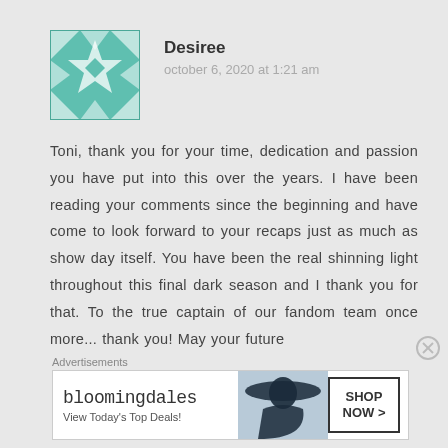[Figure (illustration): Teal/green decorative avatar with quilt-like geometric pattern featuring stars and triangles]
Desiree
october 6, 2020 at 1:21 am
Toni, thank you for your time, dedication and passion you have put into this over the years. I have been reading your comments since the beginning and have come to look forward to your recaps just as much as show day itself. You have been the real shinning light throughout this final dark season and I thank you for that. To the true captain of our fandom team once more... thank you! May your future
Advertisements
[Figure (screenshot): Bloomingdale's advertisement banner: logo, 'View Today's Top Deals!', woman with hat, 'SHOP NOW >' button]